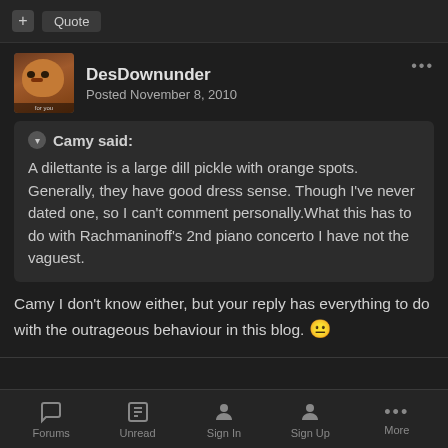+ Quote
DesDownunder
Posted November 8, 2010
Camy said:

A dilettante is a large dill pickle with orange spots. Generally, they have good dress sense. Though I've never dated one, so I can't comment personally.What this has to do with Rachmaninoff's 2nd piano concerto I have not the vaguest.
Camy I don't know either, but your reply has everything to do with the outrageous behaviour in this blog. 😐
Forums  Unread  Sign In  Sign Up  More